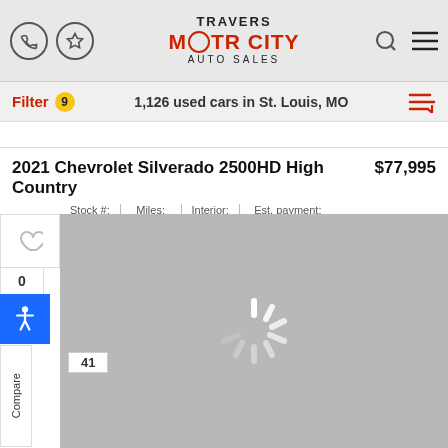TRAVERS MOTOR CITY AUTO SALES
Filter 9   1,126 used cars in St. Louis, MO
2021 Chevrolet Silverado 2500HD High Country   $77,995
| Stock # | Miles: | Interior: | Est. payment: |
| --- | --- | --- | --- |
| S3127 | 21,138 | Black | $1,007/mo |
[Figure (photo): Loading spinner on gray background — vehicle image loading]